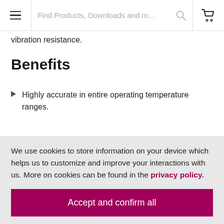Find Products, Downloads and m...
vibration resistance.
Benefits
Highly accurate in entire operating temperature ranges.
We use cookies to store information on your device which helps us to customize and improve your interactions with us. More on cookies can be found in the privacy policy.
Accept and confirm all
Adapt settings